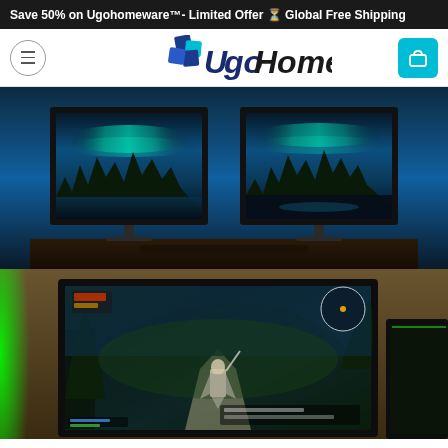Save 50% on Ugohomeware™- Limited Offer ⏳ Global Free Shipping
[Figure (logo): UgoHomeware logo with puzzle-piece style icon in blue and teal, italic bold logotype text]
[Figure (photo): Dual monitor setup displaying northern lights / aurora borealis over a lake with treeline, dark ambient lighting, monitors on a desk]
[Figure (photo): TV mounted on wall with green LED backlight bias lighting, showing The Witcher 3 video game with protagonist on a path, partial second screen visible at right edge]